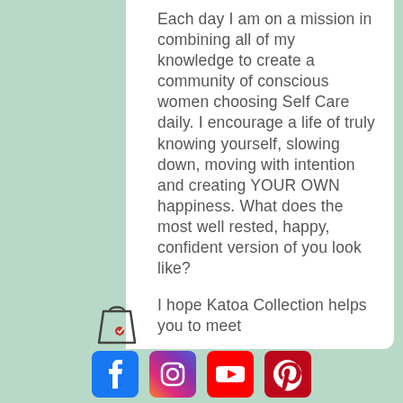Each day I am on a mission in combining all of my knowledge to create a community of conscious women choosing Self Care daily. I encourage a life of truly knowing yourself, slowing down, moving with intention and creating YOUR OWN happiness. What does the most well rested, happy, confident version of you look like?
I hope Katoa Collection helps you to meet
Love,
Florence XX
[Figure (illustration): Social media icons row: Facebook (blue), Instagram (pink/magenta), YouTube (red), Pinterest (dark red/crimson)]